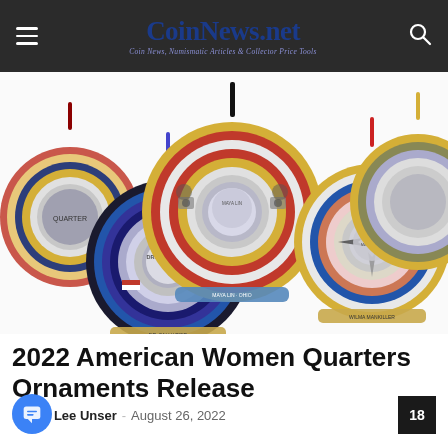CoinNews.net — Coin News, Numismatic Articles & Collector Price Tools
[Figure (photo): Five decorative coin ornaments featuring 2022 American Women Quarters designs, displayed against a white background. The ornaments are circular with colorful enamel rings and ribbons for hanging.]
2022 American Women Quarters Ornaments Release
Darrin Lee Unser – August 26, 2022